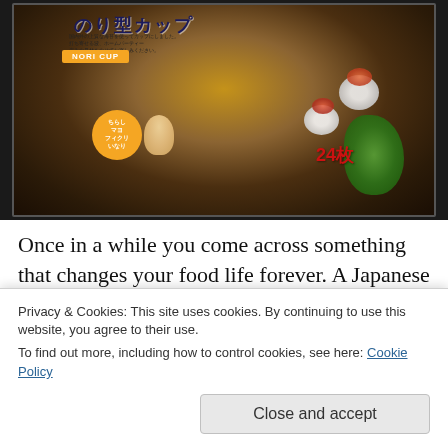[Figure (photo): A photograph of a Japanese nori cup product package on a dark background. The package shows colorful illustrations of food items including rice topped with salmon roe, Japanese text, an orange 'NORI CUP' label, characters, and red text showing '24' pieces.]
Once in a while you come across something that changes your food life forever. A Japanese chef girlfriend who now lives in California told me about these nori cups at Tsukiji
Privacy & Cookies: This site uses cookies. By continuing to use this website, you agree to their use.
To find out more, including how to control cookies, see here: Cookie Policy
Close and accept